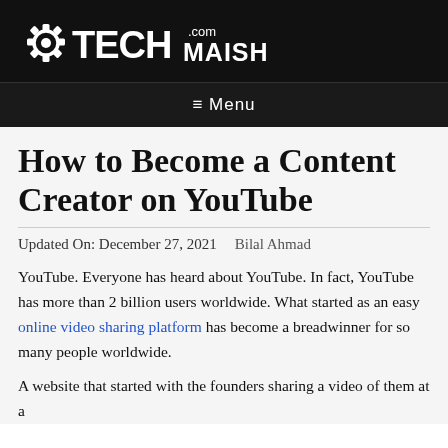TechMaish.com — Menu
How to Become a Content Creator on YouTube
Updated On: December 27, 2021   Bilal Ahmad
YouTube. Everyone has heard about YouTube. In fact, YouTube has more than 2 billion users worldwide. What started as an easy online video sharing platform has become a breadwinner for so many people worldwide.
A website that started with the founders sharing a video of them at a